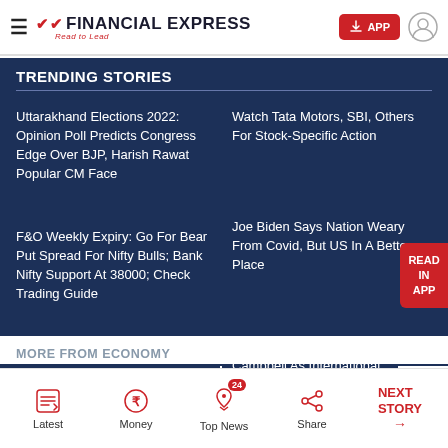Financial Express — Read to Lead
TRENDING STORIES
Uttarakhand Elections 2022: Opinion Poll Predicts Congress Edge Over BJP, Harish Rawat Popular CM Face
Watch Tata Motors, SBI, Others For Stock-Specific Action
F&O Weekly Expiry: Go For Bear Put Spread For Nifty Bulls; Bank Nifty Support At 38000; Check Trading Guide
Joe Biden Says Nation Weary From Covid, But US In A Better Place
Nifty May Head To 17850 If It Remains Below 18000;
Disney Names Rebecca Campbell As International Content Group Lead
MORE FROM ECONOMY
Latest | Money | Top News 24 | Share | NEXT STORY